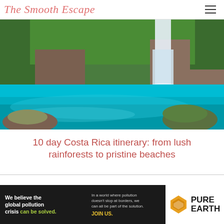The Smooth Escape
[Figure (photo): Turquoise blue waterfall pool surrounded by green mossy rocks and lush tropical vegetation in Costa Rica]
10 day Costa Rica itinerary: from lush rainforests to pristine beaches
[Figure (infographic): Pure Earth advertisement banner: 'We believe the global pollution crisis can be solved. In a world where pollution doesn't stop at borders, we can all be part of the solution. JOIN US.' with Pure Earth logo on right.]